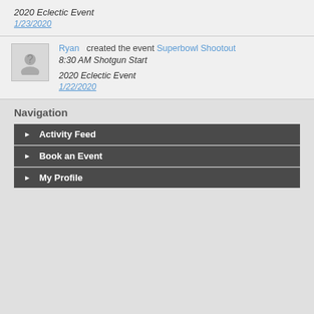2020 Eclectic Event
1/23/2020
Ryan created the event Superbowl Shootout
8:30 AM Shotgun Start
2020 Eclectic Event
1/22/2020
Navigation
Activity Feed
Book an Event
My Profile